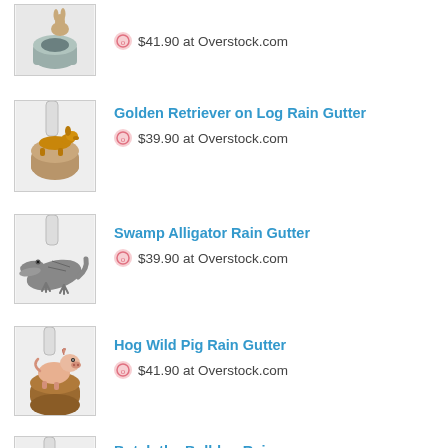[Figure (photo): Product image: animal on log rain gutter (partial top, rabbit/squirrel on stone tube)]
$41.90 at Overstock.com
Golden Retriever on Log Rain Gutter
[Figure (photo): Product image: Golden Retriever dog lying on log rain gutter downspout]
$39.90 at Overstock.com
Swamp Alligator Rain Gutter
[Figure (photo): Product image: Swamp Alligator rain gutter downspout statue]
$39.90 at Overstock.com
Hog Wild Pig Rain Gutter
[Figure (photo): Product image: pig on log rain gutter downspout]
$41.90 at Overstock.com
Butch the Bulldog Rain